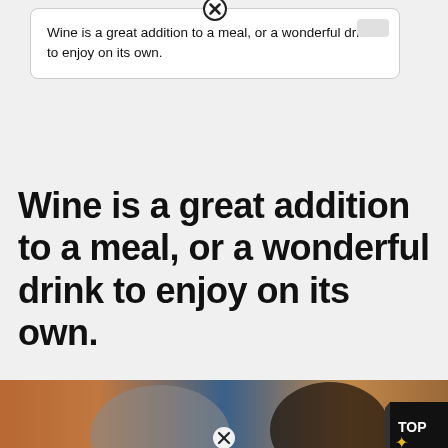Wine is a great addition to a meal, or a wonderful drink to enjoy on its own.
Wine is a great addition to a meal, or a wonderful drink to enjoy on its own.
[Figure (photo): A person holding two dark wine bottles, wearing a blue shirt. A 'TOP' badge with a star symbol is visible in the bottom right corner of the photo.]